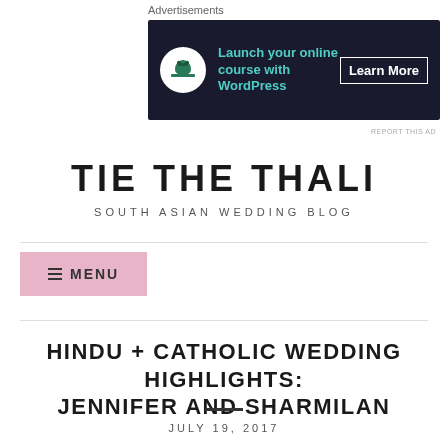Advertisements
[Figure (other): Advertisement banner for launching online courses with WordPress. Dark navy background with teal tree/bonsai icon in white circle, teal text 'Launch your online course with WordPress', and white 'Learn More' button.]
REPORT THIS AD
TIE THE THALI
SOUTH ASIAN WEDDING BLOG
≡ MENU
HINDU + CATHOLIC WEDDING HIGHLIGHTS: JENNIFER AND SHARMILAN
JULY 19, 2017